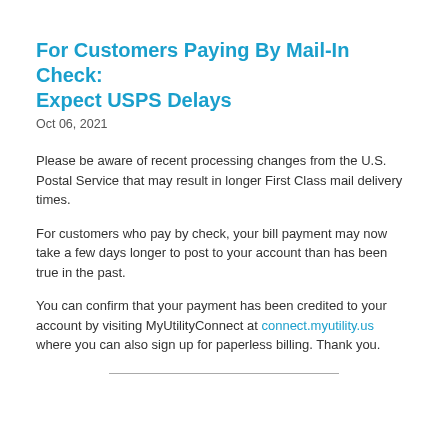For Customers Paying By Mail-In Check: Expect USPS Delays
Oct 06, 2021
Please be aware of recent processing changes from the U.S. Postal Service that may result in longer First Class mail delivery times.
For customers who pay by check, your bill payment may now take a few days longer to post to your account than has been true in the past.
You can confirm that your payment has been credited to your account by visiting MyUtilityConnect at connect.myutility.us where you can also sign up for paperless billing. Thank you.